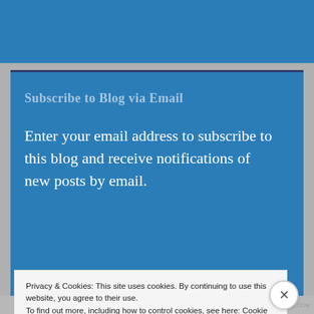[Figure (screenshot): Top blue banner bar of a website]
Subscribe to Blog via Email
Enter your email address to subscribe to this blog and receive notifications of new posts by email.
Privacy & Cookies: This site uses cookies. By continuing to use this website, you agree to their use.
To find out more, including how to control cookies, see here: Cookie Policy
Close and accept